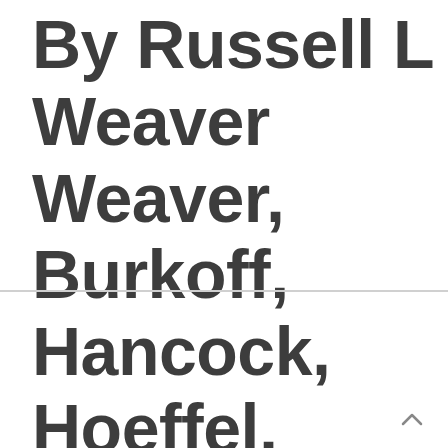By Russell L Weaver Weaver, Burkoff, Hancock, Hoeffel, Singer And